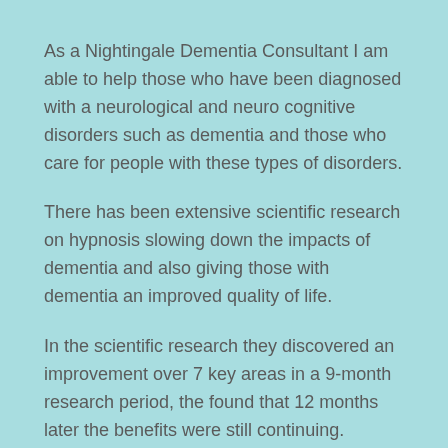As a Nightingale Dementia Consultant I am able to help those who have been diagnosed with a neurological and neuro cognitive disorders such as dementia and those who care for people with these types of disorders.
There has been extensive scientific research on hypnosis slowing down the impacts of dementia and also giving those with dementia an improved quality of life.
In the scientific research they discovered an improvement over 7 key areas in a 9-month research period, the found that 12 months later the benefits were still continuing.
This research was compared to mainstream health care methods and also with group therapy.